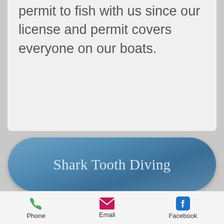permit to fish with us since our license and permit covers everyone on our boats.
Shark Tooth Diving
OUR GUARANTEE
You will be on a boat with no crowds (17 passengers or less on The Miss Venice), so we can GUARANTEE that you will catch
Phone  Email  Facebook